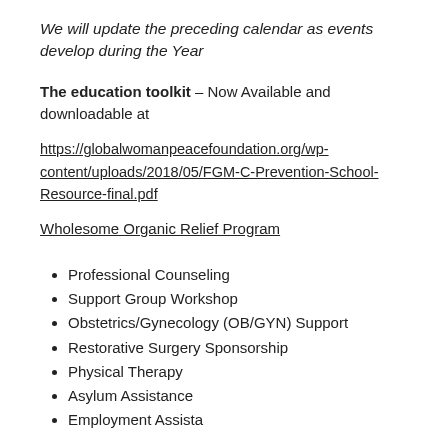We will update the preceding calendar as events develop during the Year
The education toolkit – Now Available and downloadable at
https://globalwomanpeacefoundation.org/wp-content/uploads/2018/05/FGM-C-Prevention-School-Resource-final.pdf
Wholesome Organic Relief Program
Professional Counseling
Support Group Workshop
Obstetrics/Gynecology (OB/GYN) Support
Restorative Surgery Sponsorship
Physical Therapy
Asylum Assistance
Employment Assistance